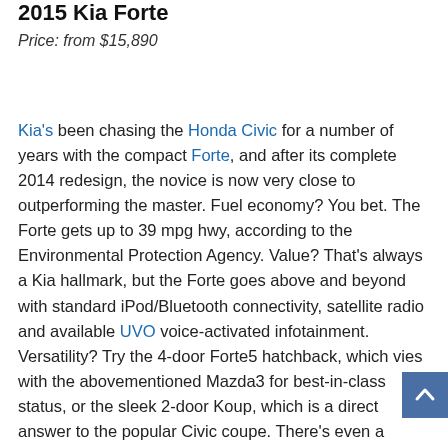2015 Kia Forte
Price: from $15,890
Kia's been chasing the Honda Civic for a number of years with the compact Forte, and after its complete 2014 redesign, the novice is now very close to outperforming the master. Fuel economy? You bet. The Forte gets up to 39 mpg hwy, according to the Environmental Protection Agency. Value? That's always a Kia hallmark, but the Forte goes above and beyond with standard iPod/Bluetooth connectivity, satellite radio and available UVO voice-activated infotainment. Versatility? Try the 4-door Forte5 hatchback, which vies with the abovementioned Mazda3 for best-in-class status, or the sleek 2-door Koup, which is a direct answer to the popular Civic coupe. There's even a spunky 1.6-liter turbo engine borrowed from the Veloster Turbo if you want to have a little extra fun. Find a Kia Forte for sale